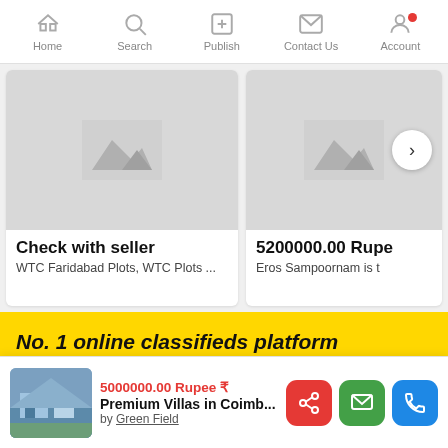Home | Search | Publish | Contact Us | Account
[Figure (screenshot): Property listing card left: placeholder mountain image, price 'Check with seller', title 'WTC Faridabad Plots, WTC Plots ...']
[Figure (screenshot): Property listing card right (partially visible): placeholder mountain image with right-arrow navigation button, price '5200000.00 Rupe', description 'Eros Sampoornam is t']
No. 1 online classifieds platform
Our aim is to empower every person in the country to independently connect with buyers and sellers online. We care about you and the transactions that bring you closer to your dreams.
[Figure (photo): Thumbnail photo of premium villa]
5000000.00 Rupee ₹
Premium Villas in Coimb...
by Green Field